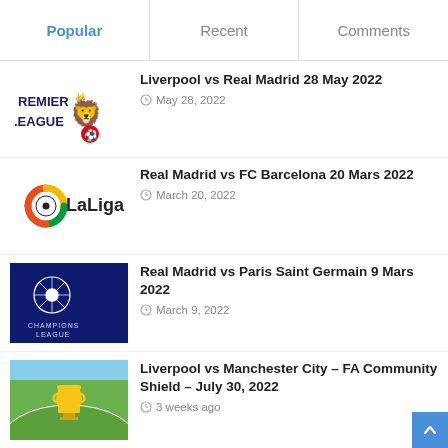Popular | Recent | Comments
Liverpool vs Real Madrid 28 May 2022 — May 28, 2022
Real Madrid vs FC Barcelona 20 Mars 2022 — March 20, 2022
Real Madrid vs Paris Saint Germain 9 Mars 2022 — March 9, 2022
Liverpool vs Manchester City – FA Community Shield – July 30, 2022 — 3 weeks ago